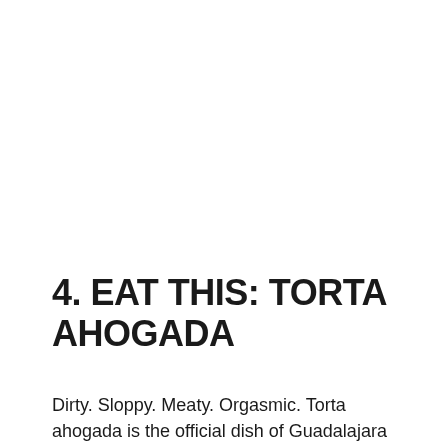4. EAT THIS: TORTA AHOGADA
Dirty. Sloppy. Meaty. Orgasmic. Torta ahogada is the official dish of Guadalajara and my